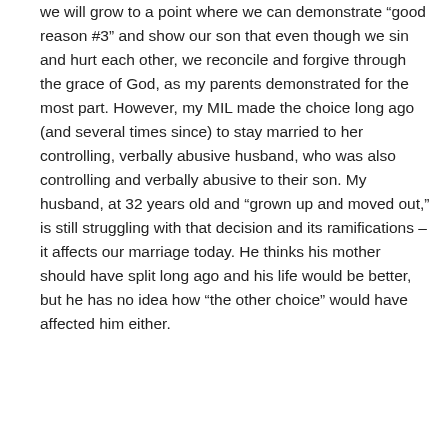we will grow to a point where we can demonstrate “good reason #3” and show our son that even though we sin and hurt each other, we reconcile and forgive through the grace of God, as my parents demonstrated for the most part. However, my MIL made the choice long ago (and several times since) to stay married to her controlling, verbally abusive husband, who was also controlling and verbally abusive to their son. My husband, at 32 years old and “grown up and moved out,” is still struggling with that decision and its ramifications – it affects our marriage today. He thinks his mother should have split long ago and his life would be better, but he has no idea how “the other choice” would have affected him either.